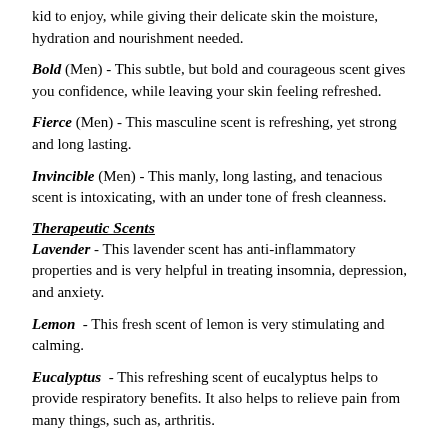kid to enjoy, while giving their delicate skin the moisture, hydration and nourishment needed.
Bold (Men) - This subtle, but bold and courageous scent gives you confidence, while leaving your skin feeling refreshed.
Fierce (Men) - This masculine scent is refreshing, yet strong and long lasting.
Invincible (Men) - This manly, long lasting, and tenacious scent is intoxicating, with an under tone of fresh cleanness.
Therapeutic Scents
Lavender - This lavender scent has anti-inflammatory properties and is very helpful in treating insomnia, depression, and anxiety.
Lemon - This fresh scent of lemon is very stimulating and calming.
Eucalyptus - This refreshing scent of eucalyptus helps to provide respiratory benefits. It also helps to relieve pain from many things, such as, arthritis.